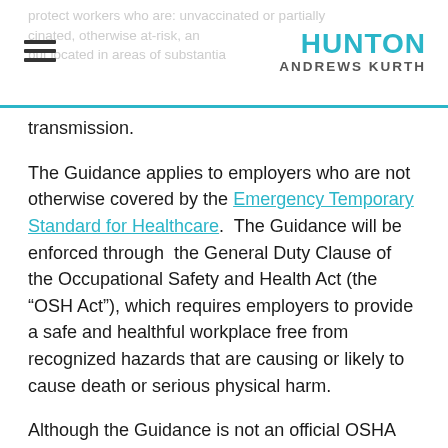protect workers who are: unvaccinated or partially vaccinated, otherwise at-risk, and fully vaccinated but located in areas of substantial or high transmission.
transmission.
The Guidance applies to employers who are not otherwise covered by the Emergency Temporary Standard for Healthcare. The Guidance will be enforced through the General Duty Clause of the Occupational Safety and Health Act (the “OSH Act”), which requires employers to provide a safe and healthful workplace free from recognized hazards that are causing or likely to cause death or serious physical harm.
Although the Guidance is not an official OSHA standard, the agency has used similar, past COVID